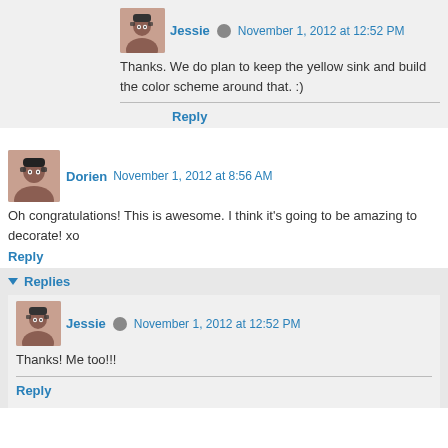Jessie · November 1, 2012 at 12:52 PM
Thanks. We do plan to keep the yellow sink and build the color scheme around that. :)
Reply
Dorien · November 1, 2012 at 8:56 AM
Oh congratulations! This is awesome. I think it's going to be amazing to decorate! xo
Reply
Replies
Jessie · November 1, 2012 at 12:52 PM
Thanks! Me too!!!
Reply